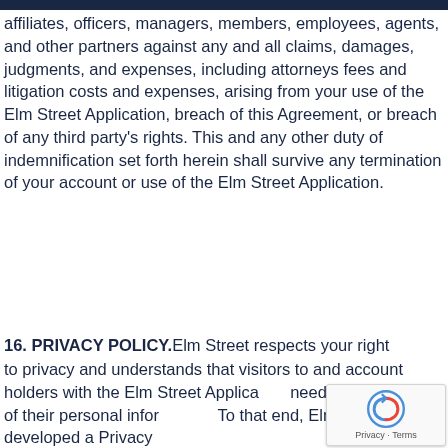affiliates, officers, managers, members, employees, agents, and other partners against any and all claims, damages, judgments, and expenses, including attorneys fees and litigation costs and expenses, arising from your use of the Elm Street Application, breach of this Agreement, or breach of any third party's rights. This and any other duty of indemnification set forth herein shall survive any termination of your account or use of the Elm Street Application.
16. PRIVACY POLICY.
Elm Street respects your right to privacy and understands that visitors to and account holders with the Elm Street Application need to be in control of their personal information. To that end, Elm Street has developed a Privacy